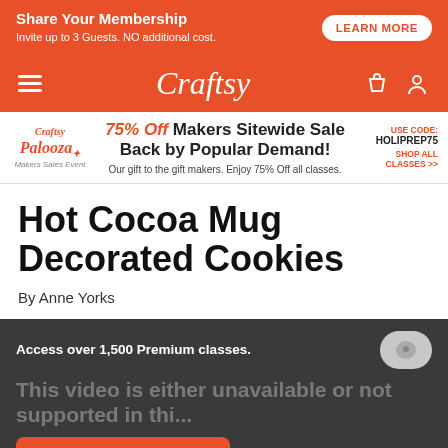[Figure (screenshot): Top orange ad banner: Share Your Membership. Invite up to 3 Guests. NO additional cost. LEARN MORE button.]
[Figure (logo): Craftsy navigation bar with hamburger menu, Craftsy logo in white italic script, shopping bag and person icons on orange background.]
[Figure (infographic): Craftsy Palooza Makers Sales Event promo: 75% Off Makers Sitewide Sale Back by Popular Demand. Our gift to the gift makers. Enjoy 75% Off all classes. USE CODE: HOLIPREP75 SHOP ALL CLASSES >>]
Hot Cocoa Mug Decorated Cookies
By Anne Yorks
Access over 1,500 Premium classes.
This video is either unavailable or not supported in thi...
BECOME A MEMBER